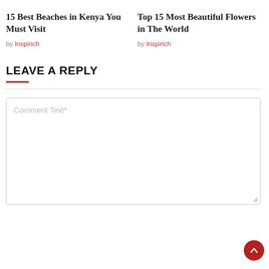15 Best Beaches in Kenya You Must Visit
by Inspirich
Top 15 Most Beautiful Flowers in The World
by Inspirich
LEAVE A REPLY
Comment Text*